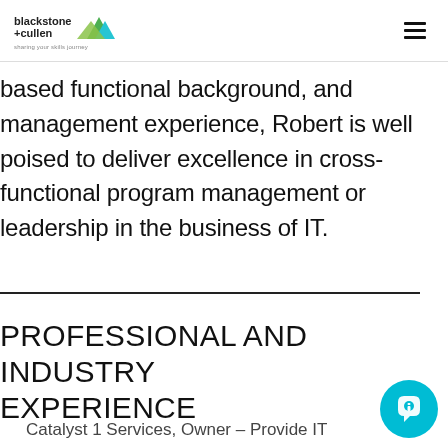blackstone+cullen — sharing your skills journey [logo with hamburger menu]
based functional background, and management experience, Robert is well poised to deliver excellence in cross-functional program management or leadership in the business of IT.
PROFESSIONAL AND INDUSTRY EXPERIENCE
Catalyst 1 Services, Owner – Provide IT